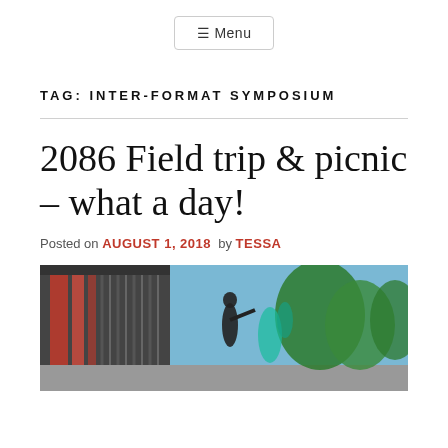≡ Menu
TAG: INTER-FORMAT SYMPOSIUM
2086 Field trip & picnic – what a day!
Posted on AUGUST 1, 2018  by  TESSA
[Figure (photo): Outdoor photo showing a modern building with red lighting on the left and trees on the right, with a blue sky visible. A dark sculptural figure is visible in the middle.]